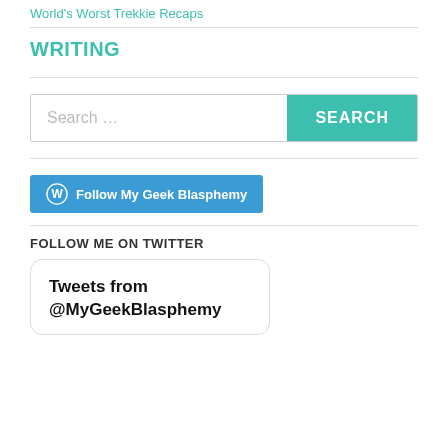World's Worst Trekkie Recaps
WRITING
[Figure (other): Search bar with text input placeholder 'Search ...' and a teal SEARCH button]
Follow My Geek Blasphemy
FOLLOW ME ON TWITTER
[Figure (screenshot): Tweet card showing 'Tweets from @MyGeekBlasphemy']